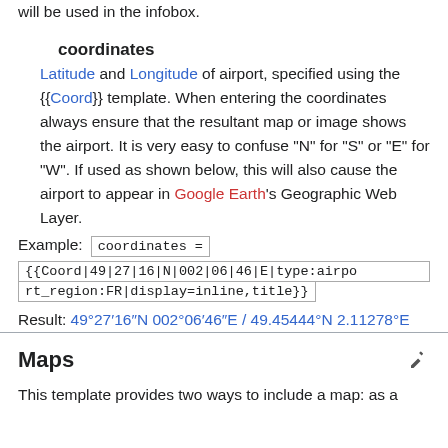will be used in the infobox.
coordinates
Latitude and Longitude of airport, specified using the {{Coord}} template. When entering the coordinates always ensure that the resultant map or image shows the airport. It is very easy to confuse "N" for "S" or "E" for "W". If used as shown below, this will also cause the airport to appear in Google Earth's Geographic Web Layer.
Example: coordinates =
{{Coord|49|27|16|N|002|06|46|E|type:airport_region:FR|display=inline,title}}
Result: 49°27′16″N 002°06′46″E / 49.45444°N 2.11278°E
Maps
This template provides two ways to include a map: as a